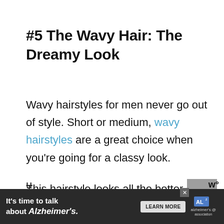#5 The Wavy Hair: The Dreamy Look
Wavy hairstyles for men never go out of style. Short or medium, wavy hairstyles are a great choice when you’re going for a classy look.
This hairstyle looks all the better on those who have naturally wavy hair. Instead of
[Figure (other): Back-to-top navigation button, grey square with upward-pointing chevron]
[Figure (other): Advertisement banner: It’s time to talk about Alzheimer’s. with LEARN MORE button and Alzheimer’s Association logo]